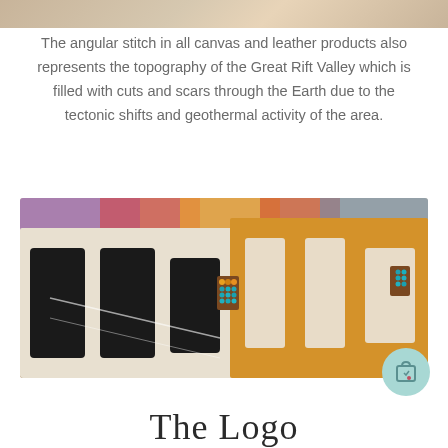[Figure (photo): Partial view of a fabric/textile product at the top of the page, showing neutral tones]
The angular stitch in all canvas and leather products also represents the topography of the Great Rift Valley which is filled with cuts and scars through the Earth due to the tectonic shifts and geothermal activity of the area.
[Figure (photo): Close-up photograph of canvas bags with bold geometric black-and-white and mustard-yellow patterns, featuring small beaded leather tags with turquoise and orange beads, against a colorful blurred background]
The Logo